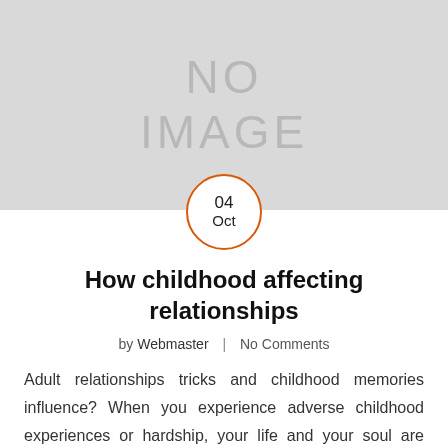[Figure (other): Gray placeholder image with text 'NO IMAGE' in large light gray letters]
04 Oct
How childhood affecting relationships
by Webmaster | No Comments
Adult relationships tricks and childhood memories influence? When you experience adverse childhood experiences or hardship, your life and your soul are altered forever. Those